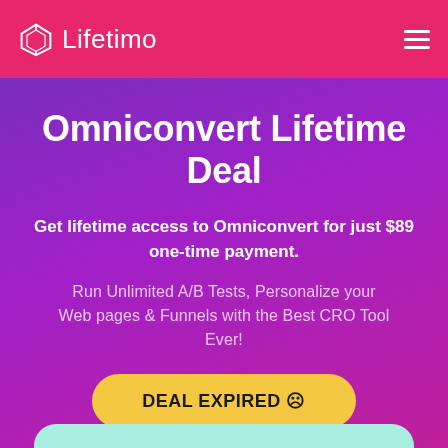Lifetimo
Omniconvert Lifetime Deal
Get lifetime access to Omniconvert for just $89 one-time payment.
Run Unlimited A/B Tests, Personalize your Web pages & Funnels with the Best CRO Tool Ever!
DEAL EXPIRED ☹